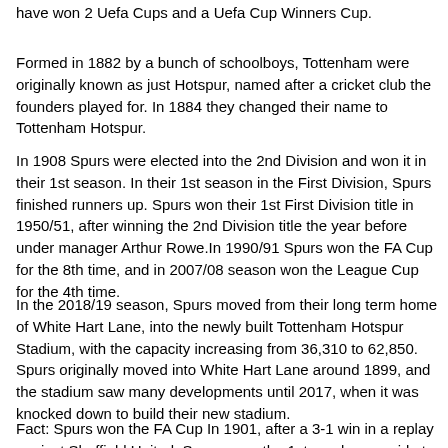have won 2 Uefa Cups and a Uefa Cup Winners Cup.
Formed in 1882 by a bunch of schoolboys, Tottenham were originally known as just Hotspur, named after a cricket club the founders played for. In 1884 they changed their name to Tottenham Hotspur.
In 1908 Spurs were elected into the 2nd Division and won it in their 1st season. In their 1st season in the First Division, Spurs finished runners up. Spurs won their 1st First Division title in 1950/51, after winning the 2nd Division title the year before under manager Arthur Rowe.In 1990/91 Spurs won the FA Cup for the 8th time, and in 2007/08 season won the League Cup for the 4th time.
In the 2018/19 season, Spurs moved from their long term home of White Hart Lane, into the newly built Tottenham Hotspur Stadium, with the capacity increasing from 36,310 to 62,850. Spurs originally moved into White Hart Lane around 1899, and the stadium saw many developments until 2017, when it was knocked down to build their new stadium.
Fact: Spurs won the FA Cup In 1901, after a 3-1 win in a replay against Sheffield United. Spurs were the 1st non league side to ever win the FA Cup.